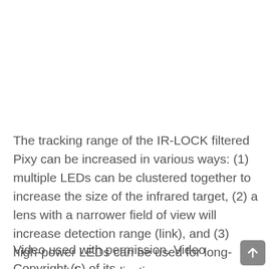The tracking range of the IR-LOCK filtered Pixy can be increased in various ways: (1) multiple LEDs can be clustered together to increase the size of the infrared target, (2) a lens with a narrower field of view will increase detection range (link), and (3) high-power LEDs can be used for long-range, outdoor applications.
Video used with permission. Video Copyright (c) of its